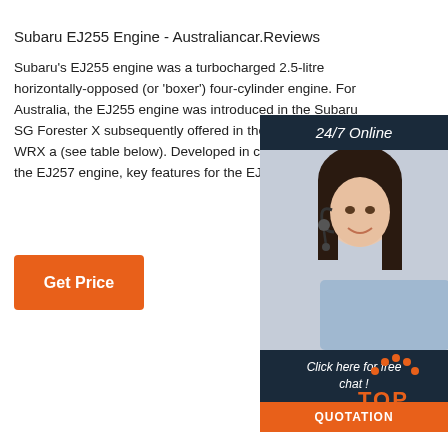Subaru EJ255 Engine - Australiancar.Reviews
Subaru's EJ255 engine was a turbocharged 2.5-litre horizontally-opposed (or 'boxer') four-cylinder engine. For Australia, the EJ255 engine was introduced in the Subaru SG Forester X subsequently offered in the GD/GG Impreza WRX a (see table below). Developed in conjunction with the EJ257 engine, key features for the EJ255 engine inc
[Figure (infographic): Orange 'Get Price' button]
[Figure (infographic): Right side advertisement panel with '24/7 Online' header, woman with headset photo, 'Click here for free chat!' text, and orange 'QUOTATION' button]
[Figure (infographic): Orange and dark 'TOP' back-to-top button with dotted arc above text]